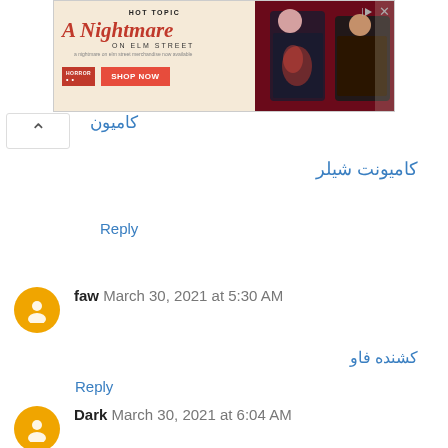[Figure (screenshot): Hot Topic advertisement banner for A Nightmare on Elm Street merchandise with Shop Now button and two people in dark clothing]
كاميون
كاميونت شيلر
Reply
faw  March 30, 2021 at 5:30 AM
كشنده فاو
Reply
Dark  March 30, 2021 at 6:04 AM